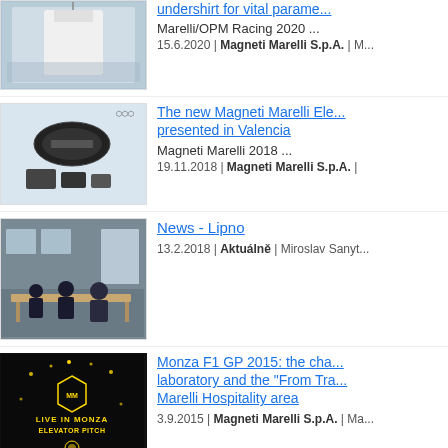[Figure (photo): Racing suit / white garment displayed on hanger in case]
undershirt for vital parame...
Marelli/OPM Racing 2020 ...
15.6.2020 | Magneti Marelli S.p.A. | M...
[Figure (photo): Electronics components - dashboard and control units]
The new Magneti Marelli Ele... presented in Valencia
Magneti Marelli 2018 ...
19.11.2018 | Magneti Marelli S.p.A. |
[Figure (photo): People sitting around a meeting table in a room]
News - Lipno
13.2.2018 | Aktuálně | Miroslav Sanyt...
[Figure (photo): Dark background with Live in Monza Elevator Pitch text and decorative lights]
Monza F1 GP 2015: the cha... laboratory and the "From Tra... Marelli Hospitality area
3.9.2015 | Magneti Marelli S.p.A. | Ma...
[Figure (photo): Banco Santander challenge trophy design document]
Banco Santander challeng... design the official F1 troph...